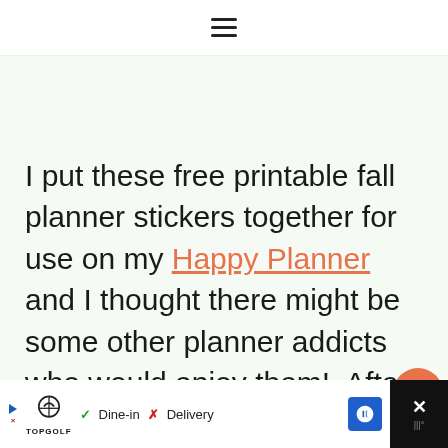≡ (hamburger menu icon)
I put these free printable fall planner stickers together for use on my Happy Planner and I thought there might be some other planner addicts who would enjoy them!  After asking my planning tribe on Facebook I knew I had to share these with the world!
[Figure (other): Social widget with heart/like button showing 3.7K and a share button]
[Figure (other): Advertisement bar at bottom: Topgolf ad with Dine-in checkmark, Delivery X, navigation arrow icon, and close button]